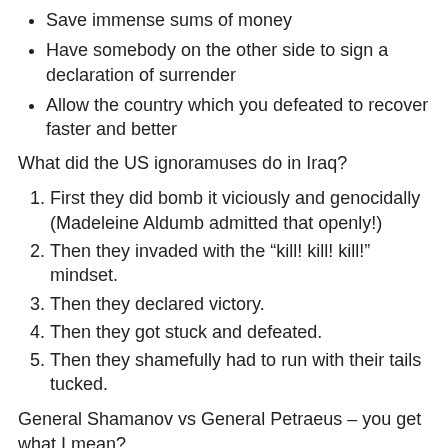Save immense sums of money
Have somebody on the other side to sign a declaration of surrender
Allow the country which you defeated to recover faster and better
What did the US ignoramuses do in Iraq?
First they did bomb it viciously and genocidally (Madeleine Aldumb admitted that openly!)
Then they invaded with the “kill! kill! kill!” mindset.
Then they declared victory.
Then they got stuck and defeated.
Then they shamefully had to run with their tails tucked.
General Shamanov vs General Petraeus – you get what I mean?
Now I do NOT want Russia to follow this no doubt “brilliant” US plan.
Turning the Ukraine into Iraq is NOT what Russia wants or needs.
So, and especially for those alternatively gifted or really mentally stuck in Zone A:
Russia is doing the absolutely correct thing by negotiating